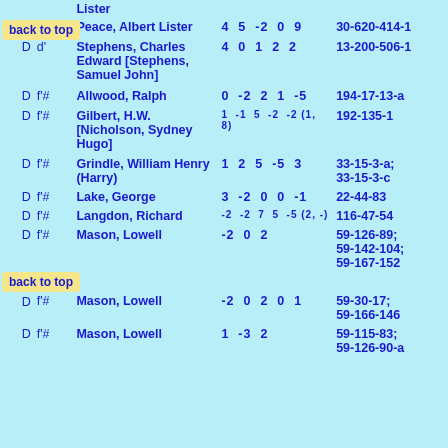Lister
Peace, Albert Lister
4 5 -2 0 9
30-620-414-1
back to top
D d' Stephens, Charles Edward [Stephens, Samuel John]
4 0 1 2 2
13-200-506-1
D f# Allwood, Ralph
0 -2 2 1 -5
194-17-13-a
D f# Gilbert, H.W. [Nicholson, Sydney Hugo]
1 -1 5 -2 -2 (1, 8)
192-135-1
D f# Grindle, William Henry (Harry)
1 2 5 -5 3
33-15-3-a; 33-15-3-c
D f# Lake, George
3 -2 0 0 -1
22-44-83
D f# Langdon, Richard
-2 -2 7 5 -5 (2, -)
116-47-54
D f# Mason, Lowell
-2 0 2
59-126-89; 59-142-104; 59-167-152
D f# Mason, Lowell
-2 0 2 0 1
59-30-17; 59-166-146
back to top
D f# Mason, Lowell
1 -3 2
59-115-83; 59-126-90-a